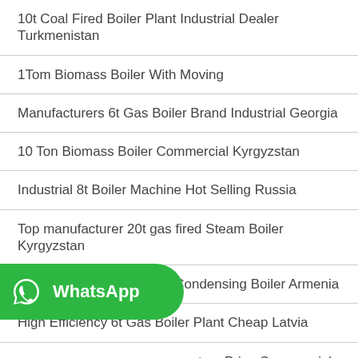10t Coal Fired Boiler Plant Industrial Dealer Turkmenistan
1Tom Biomass Boiler With Moving
Manufacturers 6t Gas Boiler Brand Industrial Georgia
10 Ton Biomass Boiler Commercial Kyrgyzstan
Industrial 8t Boiler Machine Hot Selling Russia
Top manufacturer 20t gas fired Steam Boiler Kyrgyzstan
8 Ton Dealer Commercial Condensing Boiler Armenia
High Efficiency 6t Gas Boiler Plant Cheap Latvia
...actory Price Commercial Latvia
...oiler Turkmenistan
[Figure (logo): WhatsApp button with green background and WhatsApp logo icon and text]